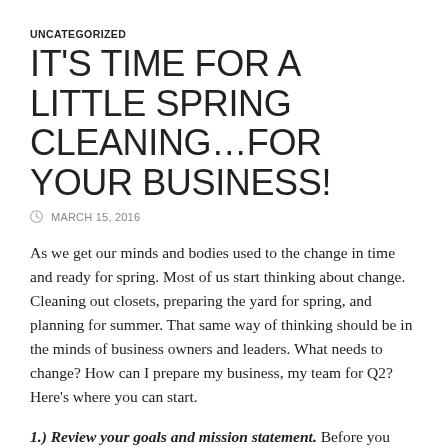UNCATEGORIZED
IT'S TIME FOR A LITTLE SPRING CLEANING…FOR YOUR BUSINESS!
MARCH 15, 2016
As we get our minds and bodies used to the change in time and ready for spring. Most of us start thinking about change. Cleaning out closets, preparing the yard for spring, and planning for summer. That same way of thinking should be in the minds of business owners and leaders. What needs to change? How can I prepare my business, my team for Q2? Here's where you can start.
1.) Review your goals and mission statement. Before you start making changes. Look back at the mission of your organization